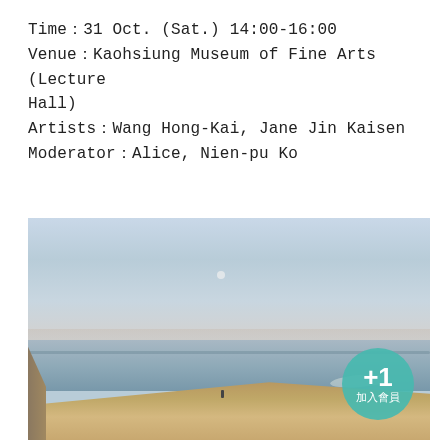Time：31 Oct. (Sat.) 14:00-16:00
Venue：Kaohsiung Museum of Fine Arts (Lecture Hall)
Artists：Wang Hong-Kai, Jane Jin Kaisen
Moderator：Alice, Nien-pu Ko
[Figure (photo): Coastal landscape photograph showing a wide bay or sea under a hazy sky. Sandy beach in the foreground, calm blue-grey water in the middle, distant horizon, and a small circular badge overlay in the bottom right corner reading '+1 加入會員' in teal.]